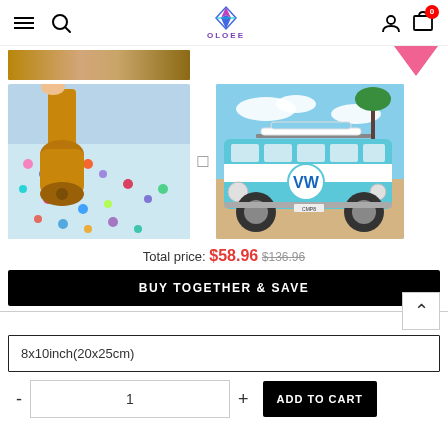OLOEE — navigation bar with hamburger menu, search, logo, user icon, cart (0)
[Figure (photo): Partial image of diamond painting roller tool on colorful diamond painting canvas]
[Figure (photo): Diamond painting roller tool (wooden roller) pressing on colorful bead/diamond painting kit]
[Figure (photo): Vintage blue and white Volkswagen VW bus/van on a sandy beach with palm trees]
Total price: $58.96 $136.96
BUY TOGETHER & SAVE
8x10inch(20x25cm)
1
ADD TO CART